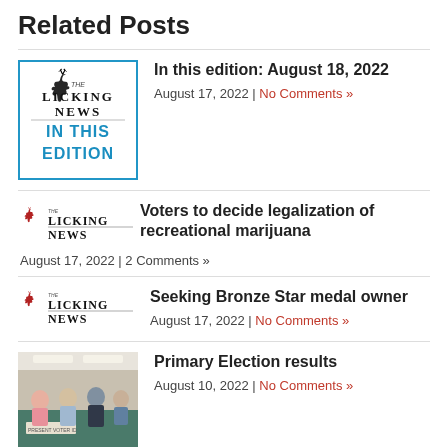Related Posts
[Figure (logo): The Licking News IN THIS EDITION logo with deer illustration, blue border]
In this edition: August 18, 2022
August 17, 2022 | No Comments »
[Figure (logo): The Licking News small masthead logo with red deer]
Voters to decide legalization of recreational marijuana
August 17, 2022 | 2 Comments »
[Figure (logo): The Licking News small masthead logo with red deer]
Seeking Bronze Star medal owner
August 17, 2022 | No Comments »
[Figure (photo): Group of people at a table during Primary Election, indoor setting]
Primary Election results
August 10, 2022 | No Comments »